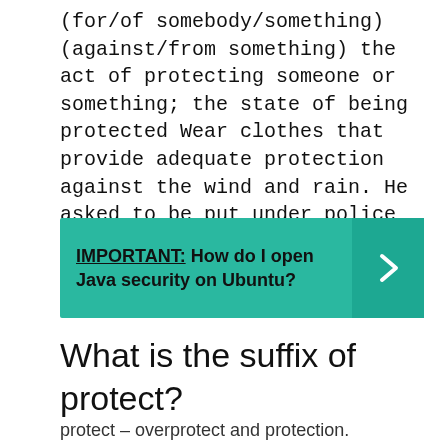(for/of somebody/something) (against/from something) the act of protecting someone or something; the state of being protected Wear clothes that provide adequate protection against the wind and rain. He asked to be put under police protection.
[Figure (infographic): Teal/green callout box with bold text 'IMPORTANT: How do I open Java security on Ubuntu?' and a right-arrow chevron on the right side in a darker teal panel.]
What is the suffix of protect?
protect – overprotect and protection.
What is the root word of